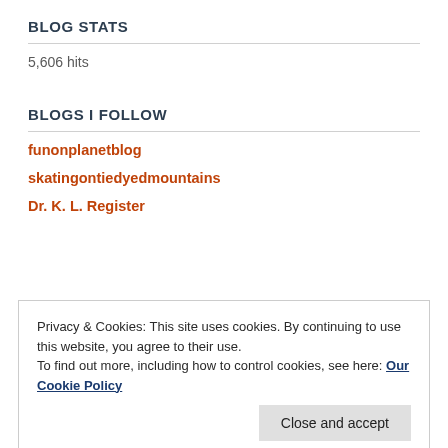BLOG STATS
5,606 hits
BLOGS I FOLLOW
funonplanetblog
skatingontiedyedmountains
Dr. K. L. Register
Privacy & Cookies: This site uses cookies. By continuing to use this website, you agree to their use.
To find out more, including how to control cookies, see here: Our Cookie Policy
Close and accept